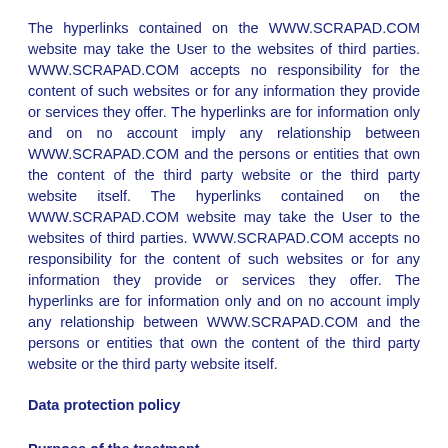The hyperlinks contained on the WWW.SCRAPAD.COM website may take the User to the websites of third parties. WWW.SCRAPAD.COM accepts no responsibility for the content of such websites or for any information they provide or services they offer. The hyperlinks are for information only and on no account imply any relationship between WWW.SCRAPAD.COM and the persons or entities that own the content of the third party website or the third party website itself. The hyperlinks contained on the WWW.SCRAPAD.COM website may take the User to the websites of third parties. WWW.SCRAPAD.COM accepts no responsibility for the content of such websites or for any information they provide or services they offer. The hyperlinks are for information only and on no account imply any relationship between WWW.SCRAPAD.COM and the persons or entities that own the content of the third party website or the third party website itself.
Data protection policy
Purpose of the treatment